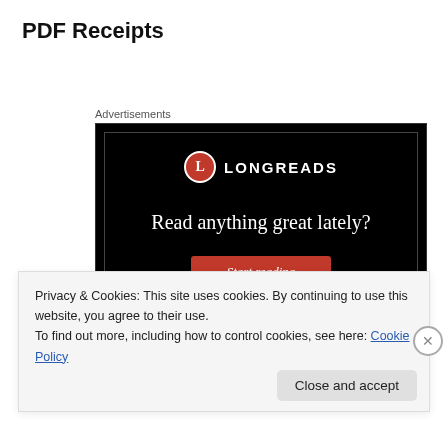PDF Receipts
Advertisements
[Figure (illustration): Advertisement banner for Longreads website. Black background with Longreads logo (red circle with 'L' and 'LONGREADS' text). Large white serif text reads 'Read anything great lately?' with a red 'Start reading' button below.]
Privacy & Cookies: This site uses cookies. By continuing to use this website, you agree to their use.
To find out more, including how to control cookies, see here: Cookie Policy